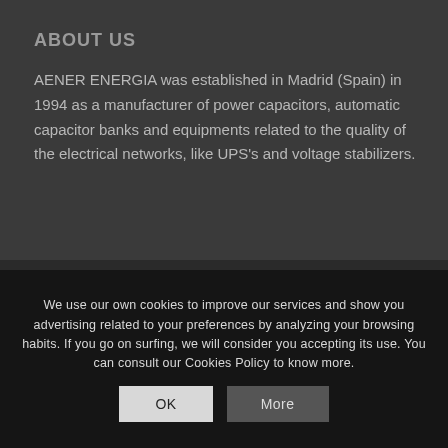ABOUT US
AENER ENERGIA was established in Madrid (Spain) in 1994 as a manufacturer of power capacitors, automatic capacitor banks and equipments related to the quality of the electrical networks, like UPS's and voltage stabilizers.
Calle Dehesa Vieja, 2 nave 8
E-28052 Madrid
Spain
+34 916 68 03 3
info@aener.com
We use our own cookies to improve our services and show you advertising related to your preferences by analyzing your browsing habits. If you go on surfing, we will consider you accepting its use. You can consult our Cookies Policy to know more.